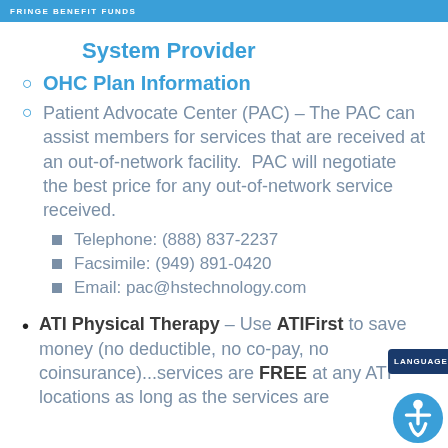FRINGE BENEFIT FUNDS
System Provider
OHC Plan Information
Patient Advocate Center (PAC) – The PAC can assist members for services that are received at an out-of-network facility. PAC will negotiate the best price for any out-of-network service received.
Telephone: (888) 837-2237
Facsimile: (949) 891-0420
Email: pac@hstechnology.com
ATI Physical Therapy – Use ATIFirst to save money (no deductible, no co-pay, no coinsurance)...services are FREE at any ATI locations as long as the services are